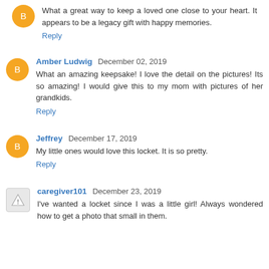What a great way to keep a loved one close to your heart. It appears to be a legacy gift with happy memories.
Reply
Amber Ludwig  December 02, 2019
What an amazing keepsake! I love the detail on the pictures! Its so amazing! I would give this to my mom with pictures of her grandkids.
Reply
Jeffrey  December 17, 2019
My little ones would love this locket. It is so pretty.
Reply
caregiver101  December 23, 2019
I've wanted a locket since I was a little girl! Always wondered how to get a photo that small in them.